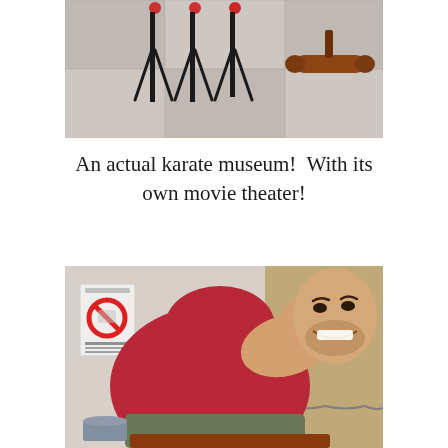[Figure (photo): Photo of karate weapons displayed on a wall — black sai (trident-shaped weapons) and a wooden nunchaku on a checkered/paneled background]
An actual karate museum!  With its own movie theater!
[Figure (photo): A smiling man in a red t-shirt and olive shorts, leaning forward with his hand on his cheek, grinning broadly. A Japanese no-photography or similar prohibition sign is visible in the background on the left.]